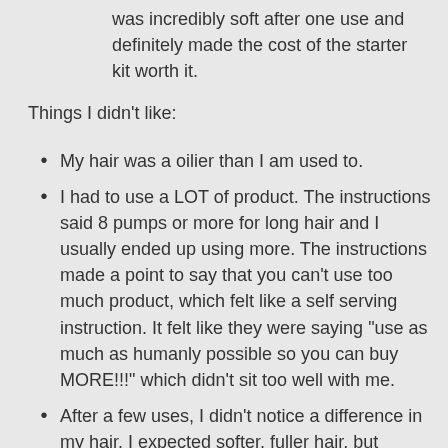was incredibly soft after one use and definitely made the cost of the starter kit worth it.
Things I didn't like:
My hair was a oilier than I am used to.
I had to use a LOT of product. The instructions said 8 pumps or more for long hair and I usually ended up using more. The instructions made a point to say that you can't use too much product, which felt like a self serving instruction. It felt like they were saying "use as much as humanly possible so you can buy MORE!!!" which didn't sit too well with me.
After a few uses, I didn't notice a difference in my hair. I expected softer, fuller hair, but although my hair was softer, it was flat.
Ordering the product online or over the phone meant being forced into an automatic shipment